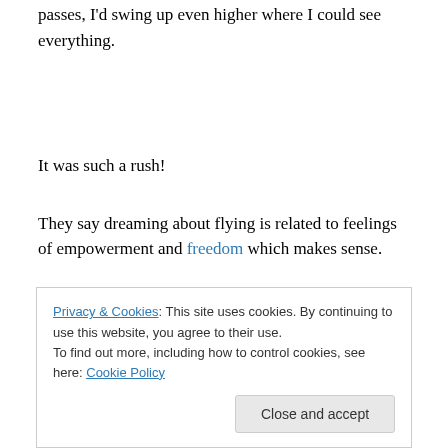passes, I'd swing up even higher where I could see everything.
It was such a rush!
They say dreaming about flying is related to feelings of empowerment and freedom which makes sense.
How have you been ‘seeing’ your challenges?
Privacy & Cookies: This site uses cookies. By continuing to use this website, you agree to their use.
To find out more, including how to control cookies, see here: Cookie Policy
Close and accept